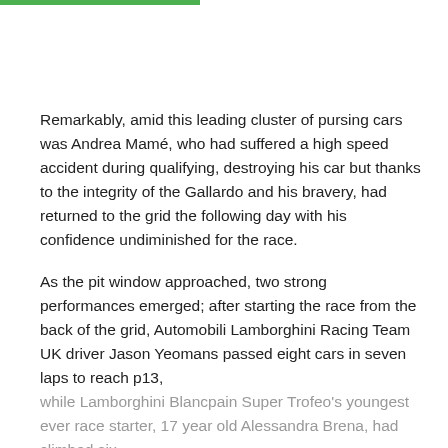Remarkably, amid this leading cluster of pursing cars was Andrea Mamé, who had suffered a high speed accident during qualifying, destroying his car but thanks to the integrity of the Gallardo and his bravery, had returned to the grid the following day with his confidence undiminished for the race.
As the pit window approached, two strong performances emerged; after starting the race from the back of the grid, Automobili Lamborghini Racing Team UK driver Jason Yeomans passed eight cars in seven laps to reach p13, while Lamborghini Blancpain Super Trofeo's youngest ever race starter, 17 year old Alessandra Brena, had climbed six